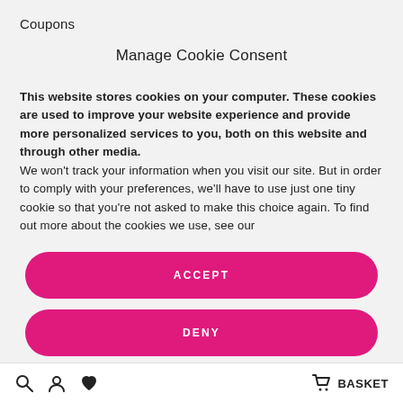Coupons
Manage Cookie Consent
This website stores cookies on your computer. These cookies are used to improve your website experience and provide more personalized services to you, both on this website and through other media.
We won't track your information when you visit our site. But in order to comply with your preferences, we'll have to use just one tiny cookie so that you're not asked to make this choice again. To find out more about the cookies we use, see our
[Figure (screenshot): ACCEPT button - pink/magenta rounded rectangle]
[Figure (screenshot): DENY button - pink/magenta rounded rectangle]
[Figure (screenshot): PREFERENCES button - pink/magenta rounded rectangle (partially visible)]
BASKET